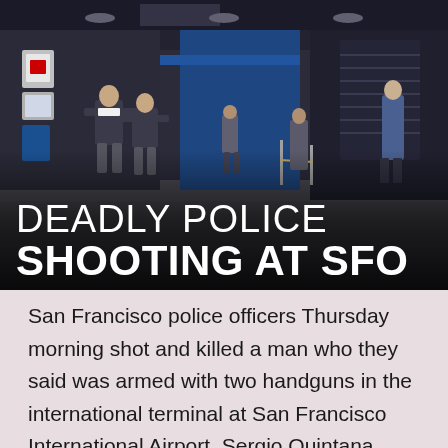[Figure (photo): Airport terminal interior showing law enforcement officers investigating a scene. The terminal is mostly empty with blue architectural elements visible. Officers in jackets are present and a person stands near the escalator area.]
DEADLY POLICE SHOOTING AT SFO
San Francisco police officers Thursday morning shot and killed a man who they said was armed with two handguns in the international terminal at San Francisco International Airport. Sergio Quintana reports. Stay connected: Follow us on Twitter: Like us on Facebook: Follow us on Instagram: Follow